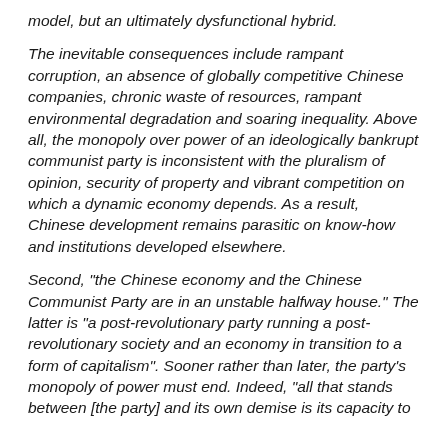model, but an ultimately dysfunctional hybrid.
The inevitable consequences include rampant corruption, an absence of globally competitive Chinese companies, chronic waste of resources, rampant environmental degradation and soaring inequality. Above all, the monopoly over power of an ideologically bankrupt communist party is inconsistent with the pluralism of opinion, security of property and vibrant competition on which a dynamic economy depends. As a result, Chinese development remains parasitic on know-how and institutions developed elsewhere.
Second, "the Chinese economy and the Chinese Communist Party are in an unstable halfway house." The latter is "a post-revolutionary party running a post-revolutionary society and an economy in transition to a form of capitalism". Sooner rather than later, the party's monopoly of power must end. Indeed, "all that stands between [the party] and its own demise is its capacity to